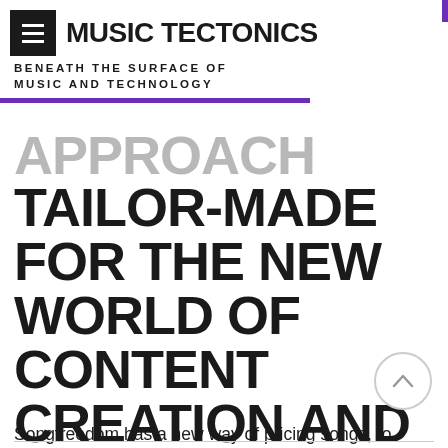MUSIC TECTONICS — BENEATH THE SURFACE OF MUSIC AND TECHNOLOGY
APPROACH TAILOR-MADE FOR THE NEW WORLD OF CONTENT CREATION AND LEGAL
Songfreedom has a new way of pricing songs, to serve more diverse audiences with a wider range of budgets. With its...